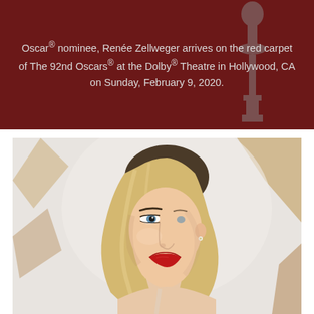Oscar® nominee, Renée Zellweger arrives on the red carpet of The 92nd Oscars® at the Dolby® Theatre in Hollywood, CA on Sunday, February 9, 2020.
[Figure (photo): A blonde woman with red lipstick photographed in profile/three-quarter view against a light background with abstract shapes, at a red carpet event.]